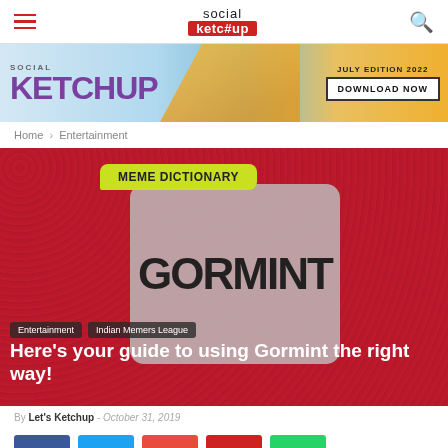Social Ketchup — navigation header with hamburger menu, logo, and search icon
[Figure (illustration): Social Ketchup magazine banner ad: JULY EDITION 2022 — DOWNLOAD NOW, with SOCIAL KETCHUP text and a figure with orange fabric]
Home › Entertainment
[Figure (photo): Hero image with red textured background showing a Meme Dictionary card with GORMINT text, Entertainment and Indian Memers League tags, and article title]
Here's your guide to using Gormint the right way!
By Let's Ketchup - October 31, 2019